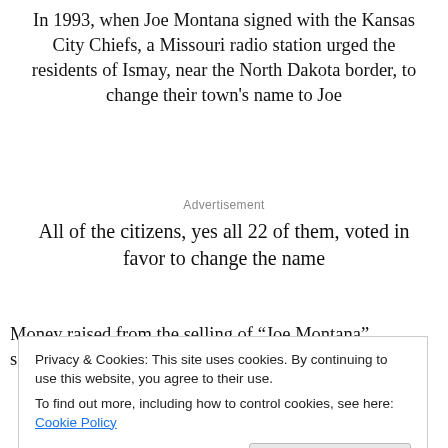In 1993, when Joe Montana signed with the Kansas City Chiefs, a Missouri radio station urged the residents of Ismay, near the North Dakota border, to change their town's name to Joe
Advertisement
All of the citizens, yes all 22 of them, voted in favor to change the name
Money raised from the selling of “Joe Montana” souvenirs
Privacy & Cookies: This site uses cookies. By continuing to use this website, you agree to their use.
To find out more, including how to control cookies, see here: Cookie Policy
Close and accept